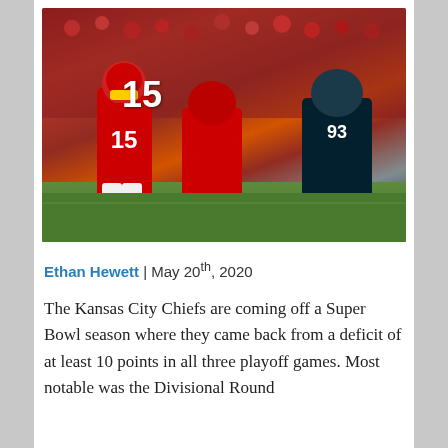[Figure (photo): Kansas City Chiefs quarterback #15 preparing to throw a pass while offensive linemen block Houston Texans defenders (#93) during an NFL playoff game]
Ethan Hewett | May 20th, 2020
The Kansas City Chiefs are coming off a Super Bowl season where they came back from a deficit of at least 10 points in all three playoff games. Most notable was the Divisional Round